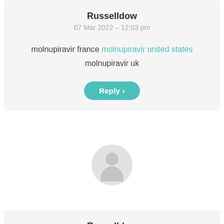Russelldow
07 Mar 2022 - 12:03 pm
molnupiravir france molnupiravir united states molnupiravir uk
Reply >
[Figure (illustration): User avatar placeholder circle with person silhouette icon in light gray]
Russelldow